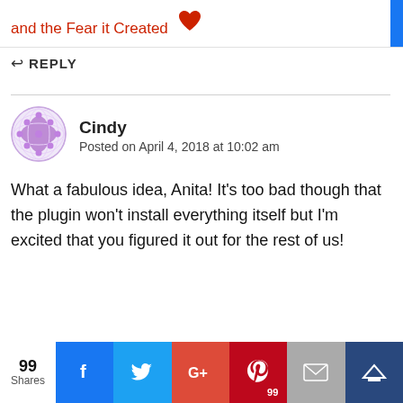and the Fear it Created
REPLY
[Figure (illustration): Avatar icon for user Cindy — purple diamond/globe pattern]
Cindy
Posted on April 4, 2018 at 10:02 am
What a fabulous idea, Anita! It's too bad though that the plugin won't install everything itself but I'm excited that you figured it out for the rest of us!
REPLY
99 Shares — Facebook, Twitter, Google+, Pinterest (99), Email, Crown